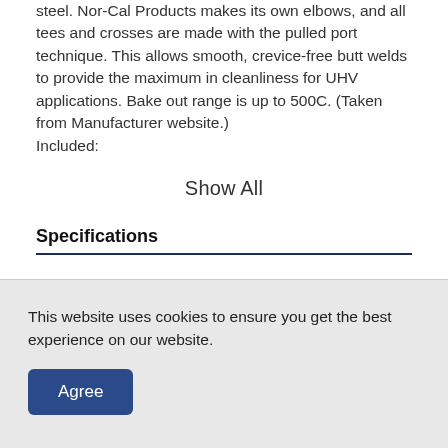steel. Nor-Cal Products makes its own elbows, and all tees and crosses are made with the pulled port technique. This allows smooth, crevice-free butt welds to provide the maximum in cleanliness for UHV applications. Bake out range is up to 500C. (Taken from Manufacturer website.) Included:
Show All
Specifications
This website uses cookies to ensure you get the best experience on our website.
Agree